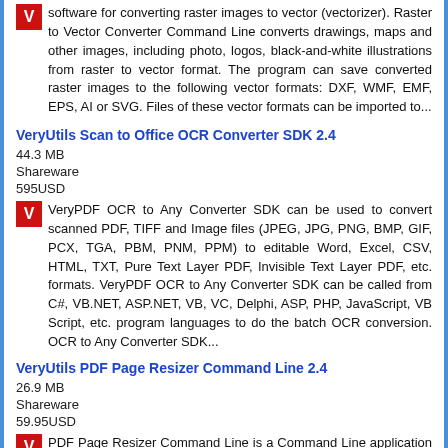software for converting raster images to vector (vectorizer). Raster to Vector Converter Command Line converts drawings, maps and other images, including photo, logos, black-and-white illustrations from raster to vector format. The program can save converted raster images to the following vector formats: DXF, WMF, EMF, EPS, AI or SVG. Files of these vector formats can be imported to...
VeryUtils Scan to Office OCR Converter SDK 2.4
44.3 MB
Shareware
595USD
VeryPDF OCR to Any Converter SDK can be used to convert scanned PDF, TIFF and Image files (JPEG, JPG, PNG, BMP, GIF, PCX, TGA, PBM, PNM, PPM) to editable Word, Excel, CSV, HTML, TXT, Pure Text Layer PDF, Invisible Text Layer PDF, etc. formats. VeryPDF OCR to Any Converter SDK can be called from C#, VB.NET, ASP.NET, VB, VC, Delphi, ASP, PHP, JavaScript, VB Script, etc. program languages to do the batch OCR conversion. OCR to Any Converter SDK...
VeryUtils PDF Page Resizer Command Line 2.4
26.9 MB
Shareware
59.95USD
PDF Page Resizer Command Line is a Command Line application to change the PDF paper size. With this PDF Page Resizer Command Line tool you can instantly resize the page size in your PDF documents. PDF Page Resizer Command Line software...